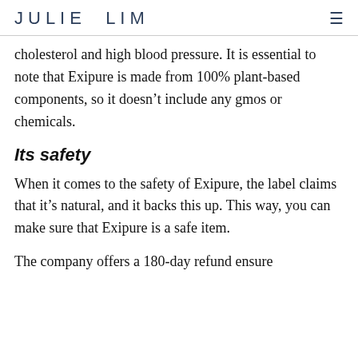JULIE LIM
cholesterol and high blood pressure. It is essential to note that Exipure is made from 100% plant-based components, so it doesn't include any gmos or chemicals.
Its safety
When it comes to the safety of Exipure, the label claims that it's natural, and it backs this up. This way, you can make sure that Exipure is a safe item.
The company offers a 180-day refund ensure